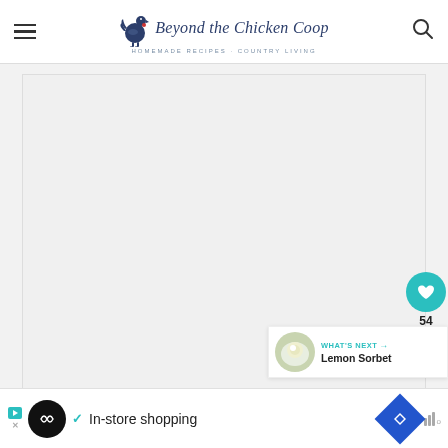Beyond the Chicken Coop — HOMEMADE RECIPES · COUNTRY LIVING
[Figure (screenshot): Main content area with light gray background, white card area for article image]
[Figure (infographic): Floating action buttons: teal heart/like button with count 54, share button]
[Figure (infographic): What's Next panel showing Lemon Sorbet with thumbnail]
[Figure (infographic): Ad bar at bottom: In-store shopping advertisement with logo, checkmark, blue navigation icon, and mute icon]